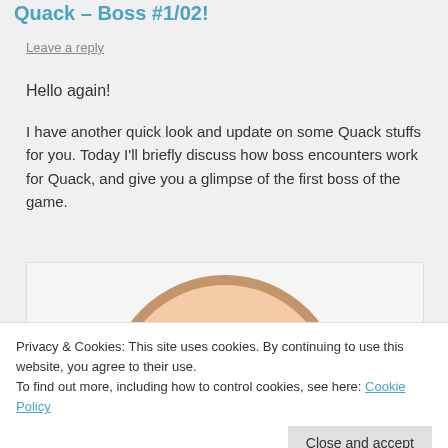Quack – Boss #1/02!
Leave a reply
Hello again!
I have another quick look and update on some Quack stuffs for you. Today I'll briefly discuss how boss encounters work for Quack, and give you a glimpse of the first boss of the game.
[Figure (illustration): Partial illustration of a round character face with peach/tan coloring, visible at top of image box]
Privacy & Cookies: This site uses cookies. By continuing to use this website, you agree to their use.
To find out more, including how to control cookies, see here: Cookie Policy
Close and accept